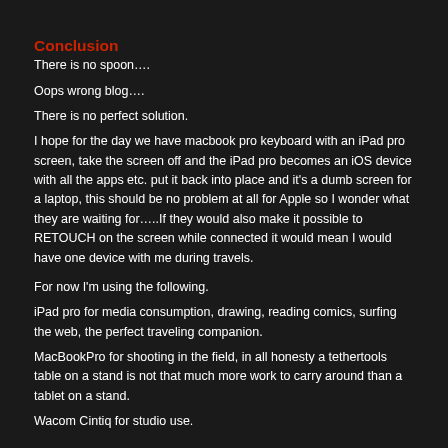Conclusion
There is no spoon….
Oops wrong blog….
There is no perfect solution.
I hope for the day we have macbook pro keyboard with an iPad pro screen, take the screen off and the iPad pro becomes an iOS device with all the apps etc. put it back into place and it's a dumb screen for a laptop, this should be no problem at all for Apple so I wonder what they are waiting for…..If they would also make it possible to RETOUCH on the screen while connected it would mean I would have one device with me during travels.
For now I'm using the following.
iPad pro for media consumption, drawing, reading comics, surfing the web, the perfect traveling companion.
MacBookPro for shooting in the field, in all honesty a tethertools table on a stand is not that much more work to carry around than a tablet on a stand.
Wacom Cintiq for studio use.